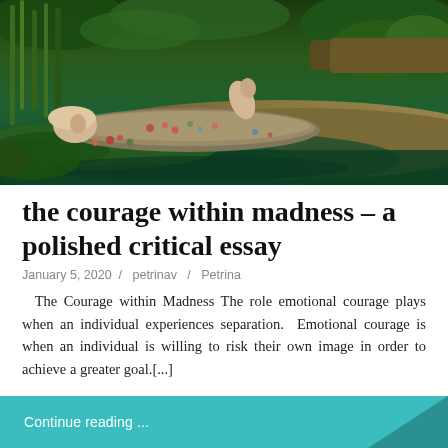[Figure (illustration): Pre-Raphaelite painting of a woman lying in water among flowers and green foliage — Ophelia scene]
the courage within madness – a polished critical essay
January 5, 2020  /  petrinav  /  Petrina
The Courage within Madness The role emotional courage plays when an individual experiences separation.  Emotional courage is when an individual is willing to risk their own image in order to achieve a greater goal.[...]
Continue reading ...